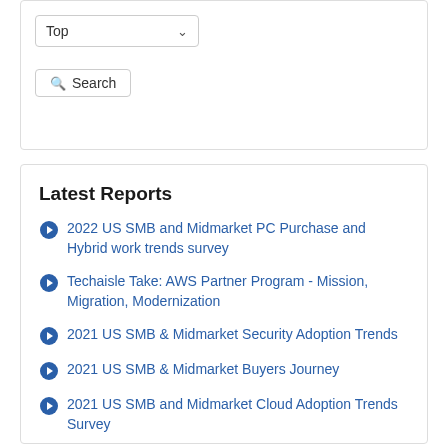Top (dropdown)
Search (button)
Latest Reports
2022 US SMB and Midmarket PC Purchase and Hybrid work trends survey
Techaisle Take: AWS Partner Program - Mission, Migration, Modernization
2021 US SMB & Midmarket Security Adoption Trends
2021 US SMB & Midmarket Buyers Journey
2021 US SMB and Midmarket Cloud Adoption Trends Survey